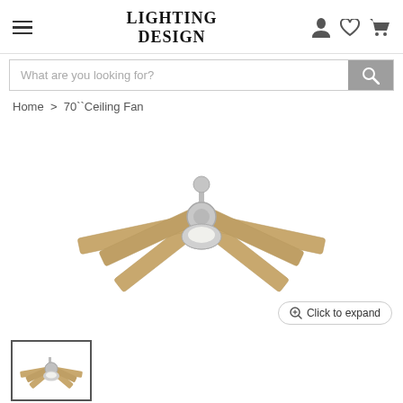LIGHTING DESIGN — navigation header with hamburger menu, brand name, user/wishlist/cart icons
What are you looking for?
Home > 70`` Ceiling Fan
[Figure (photo): A 70-inch ceiling fan with 6 light wood blades, brushed nickel motor housing, and integrated LED light kit, shown on white background with a 'Click to expand' button overlay.]
[Figure (photo): Thumbnail of the same 70-inch ceiling fan showing blades and motor from a slightly different angle.]